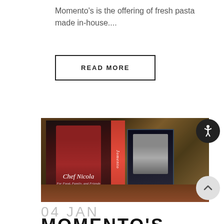Momento's is the offering of fresh pasta made in-house....
READ MORE
[Figure (photo): Photo of two Chef Nicola cookbooks displayed on a table. The larger book on the left shows a man in a red chef's coat with arms crossed. A red spine with 'Momento' text is visible in the middle. A smaller hardcover book is on the right showing a woman chef.]
04 JAN
MOMENTO'S